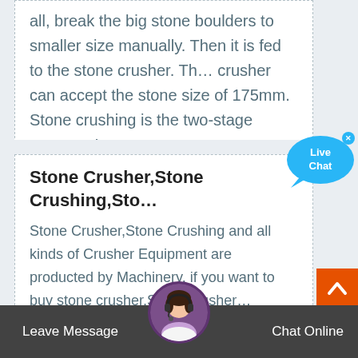all, break the big stone boulders to smaller size manually. Then it is fed to the stone crusher. Th… crusher can accept the stone size of 175mm. Stone crushing is the two-stage process. In …
Stone Crusher,Stone Crushing,Sto…
Stone Crusher,Stone Crushing and all kinds of Crusher Equipment are producted by Machinery. if you want to buy stone crusher,Stone crusher… machine or other crushers, you can contact us! Crawler Mobile Crusher Crawler Type Mobile CrusherThe portable crawler crushing & screenir…
[Figure (other): Live Chat speech bubble widget with cyan/blue color and text 'Live Chat', with an X close button]
[Figure (other): Orange scroll-to-top button with upward chevron arrow]
[Figure (other): Female customer service avatar in circular frame at bottom of page]
Leave Message    Chat Online